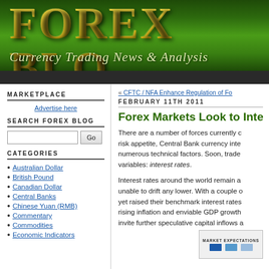[Figure (other): Forex Blog banner with green gradient background, large yellow/gold 'FOREX BLO' title text and italic subtitle 'Currency Trading News & Analysis']
Currency Trading News & Analysis
MARKETPLACE
Advertise here
SEARCH FOREX BLOG
CATEGORIES
Australian Dollar
British Pound
Canadian Dollar
Central Banks
Chinese Yuan (RMB)
Commentary
Commodities
Economic Indicators
« CFTC / NFA Enhance Regulation of Fo
FEBRUARY 11TH 2011
Forex Markets Look to Inter
There are a number of forces currently driving currency markets, including risk appetite, Central Bank currency interventions, sovereign debt crises, and numerous technical factors. Soon, traders will be focused squarely on one of those variables: interest rates.
Interest rates around the world remain at historic lows, and in many cases are unable to drift any lower. With a couple of notable exceptions, most countries have not yet raised their benchmark interest rates. Several emerging market countries, facing rising inflation and enviable GDP growth, raise their interest rates higher, to invite further speculative capital inflows a
[Figure (other): Market Expectations chart stub in bottom right corner]